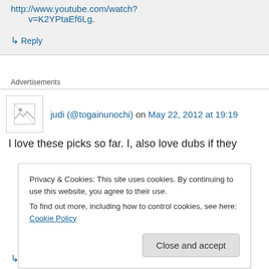http://www.youtube.com/watch?v=K2YPtaEf6Lg.
↳ Reply
Advertisements
judi (@togainunochi) on May 22, 2012 at 19:19
I love these picks so far. I, also love dubs if they
Privacy & Cookies: This site uses cookies. By continuing to use this website, you agree to their use.
To find out more, including how to control cookies, see here: Cookie Policy
Close and accept
↳ Reply